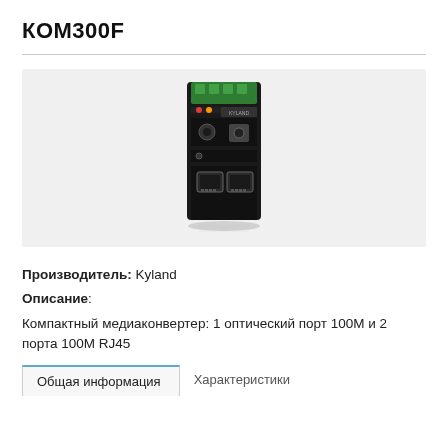КОМ300F
[Figure (photo): Photo of KOM300F compact media converter device by Kyland, a small black industrial box with green terminal connector on top, optical and RJ45 ports on front, and two Ethernet ports at the bottom.]
Производитель: Kyland
Описание:
Компактный медиаконвертер: 1 оптический порт 100M и 2 порта 100M RJ45
Общая информация
Характеристики